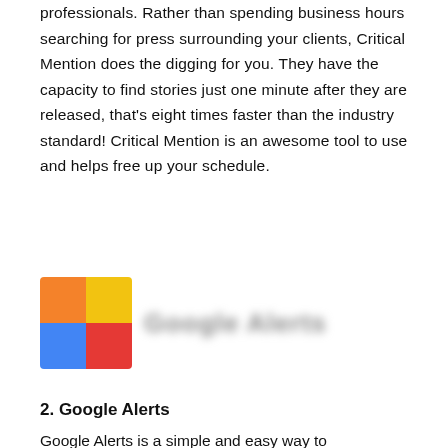professionals. Rather than spending business hours searching for press surrounding your clients, Critical Mention does the digging for you. They have the capacity to find stories just one minute after they are released, that's eight times faster than the industry standard! Critical Mention is an awesome tool to use and helps free up your schedule.
[Figure (logo): Google Alerts logo showing four colored squares (orange, yellow, blue, red) arranged in a 2x2 grid with blurred gray text to the right]
2. Google Alerts
Google Alerts is a simple and easy way to